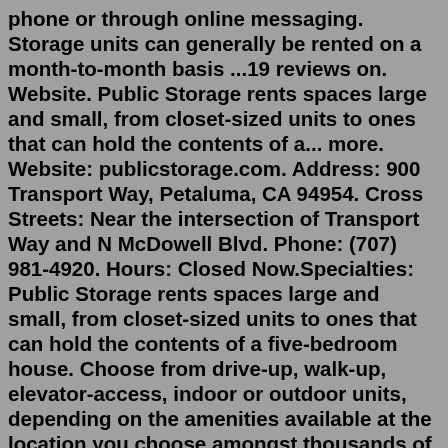phone or through online messaging. Storage units can generally be rented on a month-to-month basis ...19 reviews on. Website. Public Storage rents spaces large and small, from closet-sized units to ones that can hold the contents of a... more. Website: publicstorage.com. Address: 900 Transport Way, Petaluma, CA 94954. Cross Streets: Near the intersection of Transport Way and N McDowell Blvd. Phone: (707) 981-4920. Hours: Closed Now.Specialties: Public Storage rents spaces large and small, from closet-sized units to ones that can hold the contents of a five-bedroom house. Choose from drive-up, walk-up, elevator-access, indoor or outdoor units, depending on the amenities available at the location you choose amongst thousands of our facilities. Renting from Public Storage is fast, flexible, convenient. A Great Deal: $1 ... Find 485 listings related to Public Storage in Petaluma on YP.com. See reviews, photos, directions, phone numbers and more for Public Storage locations in Petaluma, CA.Marina The City of Petaluma offers services for those at the